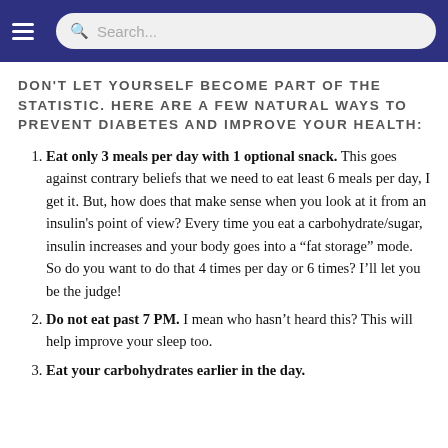Search...
DON'T LET YOURSELF BECOME PART OF THE STATISTIC. HERE ARE A FEW NATURAL WAYS TO PREVENT DIABETES AND IMPROVE YOUR HEALTH:
Eat only 3 meals per day with 1 optional snack. This goes against contrary beliefs that we need to eat least 6 meals per day, I get it. But, how does that make sense when you look at it from an insulin's point of view? Every time you eat a carbohydrate/sugar, insulin increases and your body goes into a “fat storage” mode. So do you want to do that 4 times per day or 6 times? I’ll let you be the judge!
Do not eat past 7 PM. I mean who hasn’t heard this? This will help improve your sleep too.
Eat your carbohydrates earlier in the day.